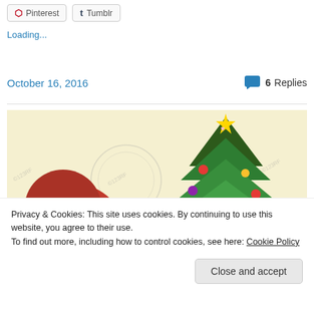[Figure (other): Social share buttons for Pinterest and Tumblr]
Loading...
October 16, 2016
6 Replies
[Figure (illustration): Vintage Christmas illustration with Santa in red hat and decorated Christmas tree on cream/yellow background with watermarks]
Privacy & Cookies: This site uses cookies. By continuing to use this website, you agree to their use.
To find out more, including how to control cookies, see here: Cookie Policy
Close and accept